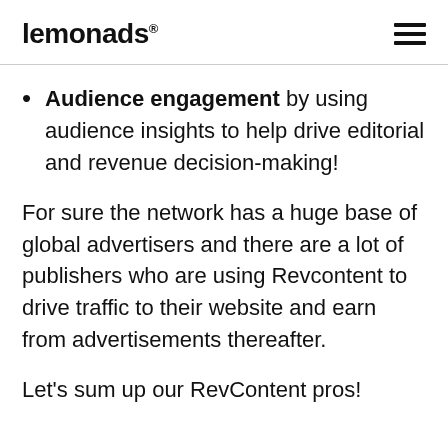lemonads®
Audience engagement by using audience insights to help drive editorial and revenue decision-making!
For sure the network has a huge base of global advertisers and there are a lot of publishers who are using Revcontent to drive traffic to their website and earn from advertisements thereafter.
Let's sum up our RevContent pros!